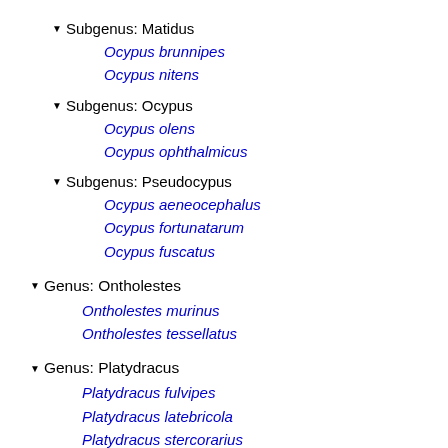Subgenus: Matidus
Ocypus brunnipes
Ocypus nitens
Subgenus: Ocypus
Ocypus olens
Ocypus ophthalmicus
Subgenus: Pseudocypus
Ocypus aeneocephalus
Ocypus fortunatarum
Ocypus fuscatus
Genus: Ontholestes
Ontholestes murinus
Ontholestes tessellatus
Genus: Platydracus
Platydracus fulvipes
Platydracus latebricola
Platydracus stercorarius